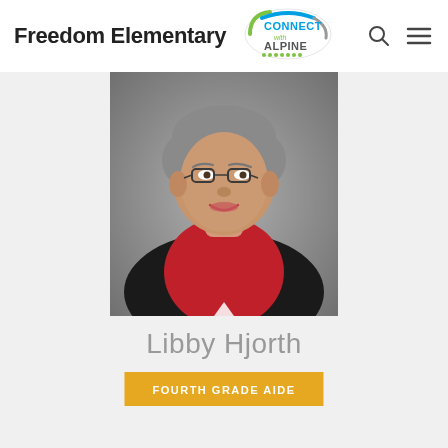Freedom Elementary
[Figure (logo): Connect with Alpine logo — oval shape with blue/green and gray colors, text reads CONNECT with ALPINE]
[Figure (photo): Professional headshot of Libby Hjorth, a woman with short gray hair and glasses, wearing a red shirt and black cardigan, photographed against a gray background]
Libby Hjorth
FOURTH GRADE AIDE